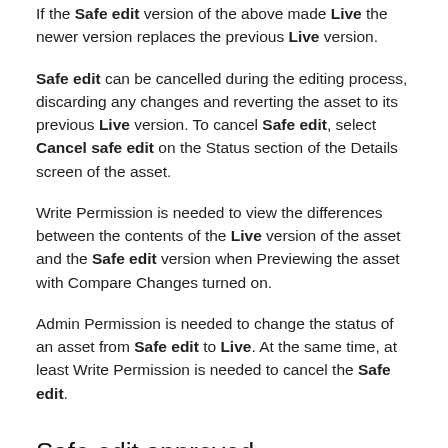If the Safe edit version of the above made Live the newer version replaces the previous Live version.
Safe edit can be cancelled during the editing process, discarding any changes and reverting the asset to its previous Live version. To cancel Safe edit, select Cancel safe edit on the Status section of the Details screen of the asset.
Write Permission is needed to view the differences between the contents of the Live version of the asset and the Safe edit version when Previewing the asset with Compare Changes turned on.
Admin Permission is needed to change the status of an asset from Safe edit to Live. At the same time, at least Write Permission is needed to cancel the Safe edit.
Safe edit approved
When an asset is Safe edit approved, changes made to